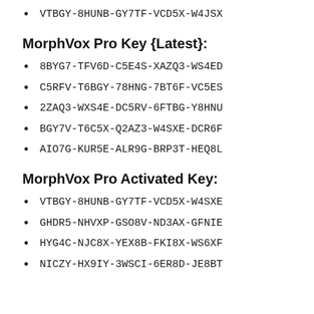VTBGY-8HUNB-GY7TF-VCD5X-W4JSX
MorphVox Pro Key {Latest}:
8BYG7-TFV6D-C5E4S-XAZQ3-WS4ED
C5RFV-T6BGY-78HNG-7BT6F-VC5ES
2ZAQ3-WXS4E-DC5RV-6FTBG-Y8HNU
BGY7V-T6C5X-Q2AZ3-W4SXE-DCR6F
AIO7G-KUR5E-ALR9G-BRP3T-HEQ8L
MorphVox Pro Activated Key:
VTBGY-8HUNB-GY7TF-VCD5X-W4SXE
GHDR5-NHVXP-GSO8V-ND3AX-GFNIE
HYG4C-NJC8X-YEX8B-FKI8X-WS6XF
NICZY-HX9IY-3WSCI-6ER8D-JE8BT